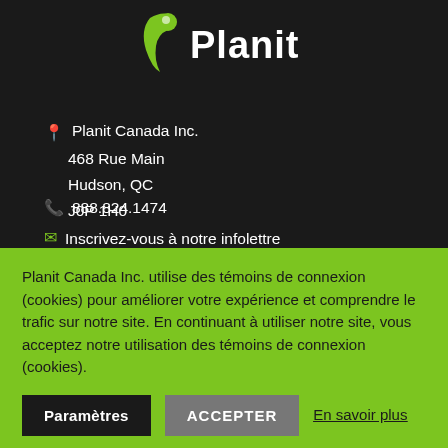[Figure (logo): Planit logo with green leaf/arrow icon and white bold text 'Planit']
Planit Canada Inc.
468 Rue Main
Hudson, QC
J0P 1H0
888.824.1474
Inscrivez-vous à notre infolettre
[Figure (illustration): Four green social media icons (Facebook, Instagram, LinkedIn, YouTube) on dark background]
Planit Canada Inc. utilise des témoins de connexion (cookies) pour améliorer votre expérience et comprendre le trafic sur notre site. En continuant à utiliser notre site, vous acceptez notre utilisation des témoins de connexion (cookies).
Paramètres
ACCEPTER
En savoir plus